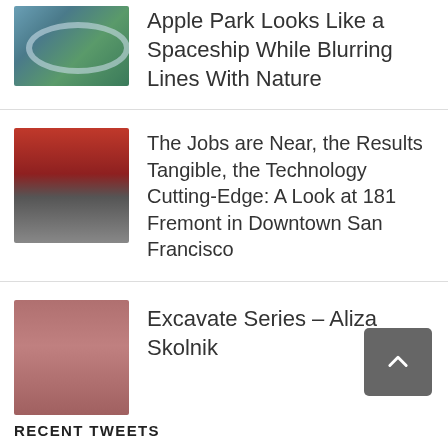Apple Park Looks Like a Spaceship While Blurring Lines With Nature
The Jobs are Near, the Results Tangible, the Technology Cutting-Edge: A Look at 181 Fremont in Downtown San Francisco
Excavate Series – Aliza Skolnik
RECENT TWEETS